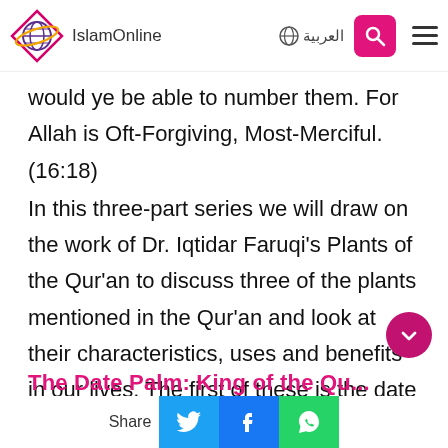IslamOnline | العربية
would ye be able to number them. For Allah is Oft-Forgiving, Most-Merciful. (16:18)
In this three-part series we will draw on the work of Dr. Iqtidar Faruqi's Plants of the Qur'an to discuss three of the plants mentioned in the Qur'an and look at their characteristics, uses and benefits in our lives. The first of these is the date palm.
The Date Palm: King of the Qur'an...